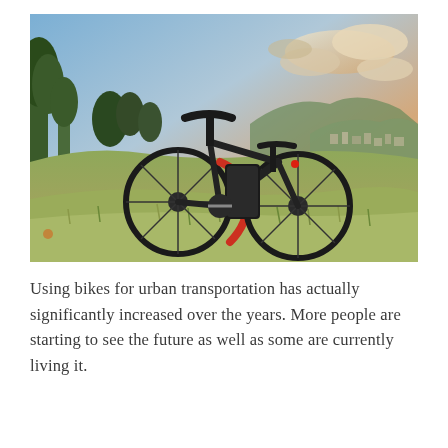[Figure (photo): A dark mountain/electric bike parked on a grassy hillside at sunset, with trees in the background and a town visible in the valley below. The sky has dramatic orange and pink clouds.]
Using bikes for urban transportation has actually significantly increased over the years. More people are starting to see the future as well as some are currently living it.